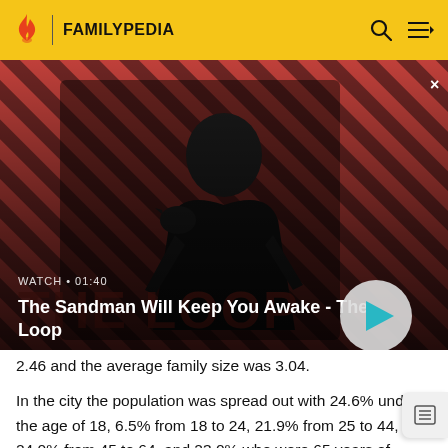FAMILYPEDIA
[Figure (screenshot): Video thumbnail for 'The Sandman Will Keep You Awake - The Loop' with a dark-themed promotional image of a person in black with a crow on their shoulder against a red and black striped background. Shows WATCH • 01:40 label and a play button.]
2.46 and the average family size was 3.04.
In the city the population was spread out with 24.6% under the age of 18, 6.5% from 18 to 24, 21.9% from 25 to 44, 24.0% from 45 to 64, and 23.0% who were 65 years of